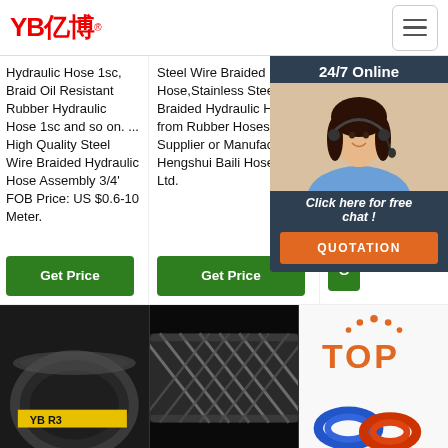YB亿博® [logo] [hamburger menu button]
Hydraulic Hose 1sc, Braid Oil Resistant Rubber Hydraulic Hose 1sc and so on. ... High Quality Steel Wire Braided Hydraulic Hose Assembly 3/4' FOB Price: US $0.6-10 Meter.
Steel Wire Braided Hose,Stainless Steel Braided Hydraulic Hose from Rubber Hoses Supplier or Manufacturer-Hengshui Baili Hose Co., Ltd.
wire braided hydraulic hose 3.65 Meter ... IS ISO
[Figure (photo): Customer service agent (woman with headset) with 24/7 Online chat popup overlay in dark teal background]
24/7 Online
Click here for free chat !
QUOTATION
Get Price
Get Price
G
[Figure (photo): Industrial rubber hydraulic hose (dark, coiled) with yellow YB R3 label markings]
[Figure (photo): Steel wire braided hydraulic hose close-up, dark diagonal braid pattern]
[Figure (other): TOP logo mark in orange with dot crown above, with coiled colored hoses below]